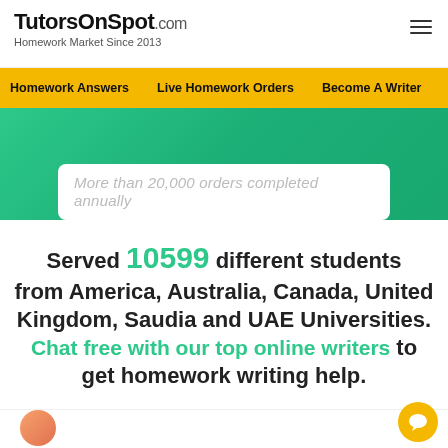TutorsOnSpot.com — Homework Market Since 2013
Homework Answers   Live Homework Orders   Become A Writer   H
More than 20,000 orders completed annually
Served 10599 different students from America, Australia, Canada, United Kingdom, Saudia and UAE Universities. Chat free with our top online writers to get homework writing help.